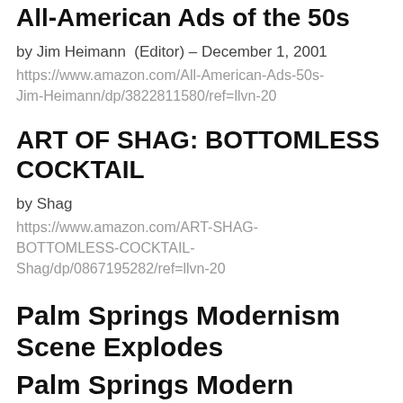All-American Ads of the 50s
by Jim Heimann  (Editor) – December 1, 2001
https://www.amazon.com/All-American-Ads-50s-Jim-Heimann/dp/3822811580/ref=llvn-20
ART OF SHAG: BOTTOMLESS COCKTAIL
by Shag
https://www.amazon.com/ART-SHAG-BOTTOMLESS-COCKTAIL-Shag/dp/0867195282/ref=llvn-20
Palm Springs Modernism Scene Explodes
Palm Springs Modern